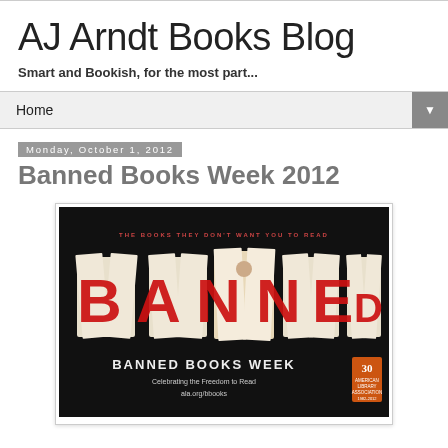AJ Arndt Books Blog
Smart and Bookish, for the most part...
Home ▼
Monday, October 1, 2012
Banned Books Week 2012
[Figure (photo): Banned Books Week 2012 promotional poster with open books spelling out the word BANNED in large red letters on a black background. Text reads: THE BOOKS THEY DON'T WANT YOU TO READ / BANNED BOOKS WEEK / Celebrating the Freedom to Read / ala.org/bbooks. 30th anniversary logo in bottom right.]